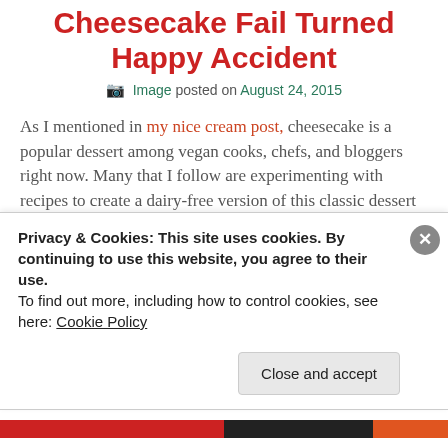Cheesecake Fail Turned Happy Accident
Image posted on August 24, 2015
As I mentioned in my nice cream post, cheesecake is a popular dessert among vegan cooks, chefs, and bloggers right now. Many that I follow are experimenting with recipes to create a dairy-free version of this classic dessert and are taking it up a notch by making it no-bake and sometimes, raw, too.
Turns out, a successful vegan cheesecake is not easy,
Privacy & Cookies: This site uses cookies. By continuing to use this website, you agree to their use.
To find out more, including how to control cookies, see here: Cookie Policy